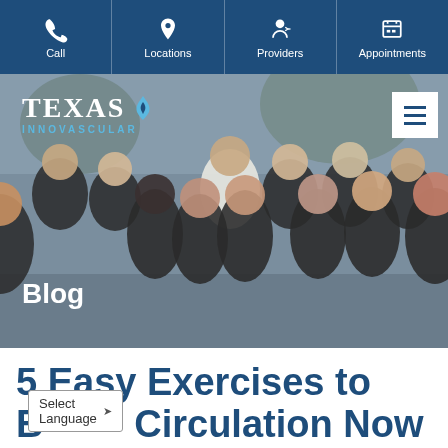Call | Locations | Providers | Appointments
[Figure (photo): Medical team group photo for Texas Innovascular blog page header, showing approximately 13 staff members in black scrubs with one doctor in a white coat, posing outdoors. The Texas Innovascular logo and a hamburger menu icon overlay the image. A 'Blog' label appears in white text at the lower left.]
5 Easy Exercises to Boost Circulation Now